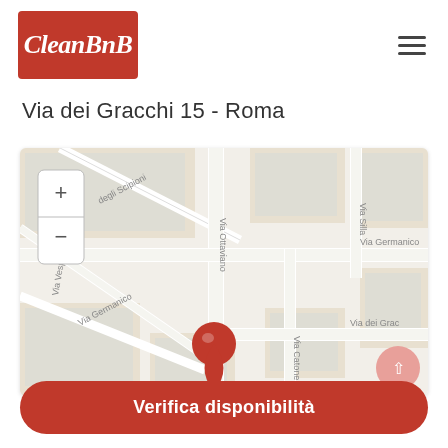[Figure (logo): CleanBnB logo: red rectangle with white italic text 'CleanBnB']
Via dei Gracchi 15 - Roma
[Figure (map): Street map of Rome showing Via dei Gracchi area with streets Via degli Scipioni, Via Vespasiano, Via Ottaviano, Via Germanico, Via Silla, Via Catone, Via dei Gracchi. A red location pin is shown at the intersection near Via dei Gracchi 15. Map zoom controls (+/-) visible on left side. A red circular up-arrow button visible in the lower right.]
Verifica disponibilità